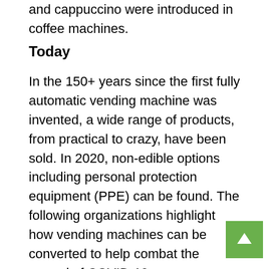and cappuccino were introduced in coffee machines.
Today
In the 150+ years since the first fully automatic vending machine was invented, a wide range of products, from practical to crazy, have been sold. In 2020, non-edible options including personal protection equipment (PPE) can be found. The following organizations highlight how vending machines can be converted to help combat the spread of COVID-19.